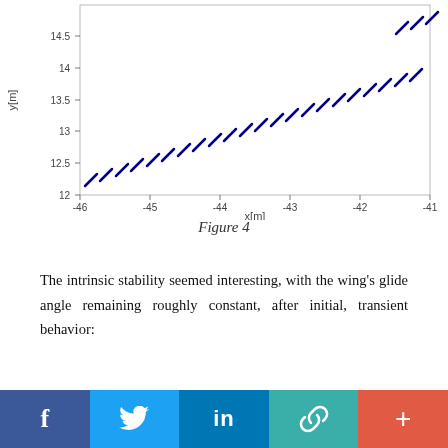[Figure (continuous-plot): Top portion of a 2D trajectory plot showing diagonal dashes in blue going from lower-left to upper-right. Y-axis labeled 'y[m]' with values 12 to 14.5 (and clipped above). X-axis labeled 'x[m]' with values from -46 to -41. The plot shows wing trajectory with periodic stroke marks.]
Figure 4
The intrinsic stability seemed interesting, with the wing's glide angle remaining roughly constant, after initial, transient behavior:
[Figure (continuous-plot): Bottom portion of a line chart, only top sliver visible showing y-axis tick at 1.5 and the top of the chart area with white background and gray border.]